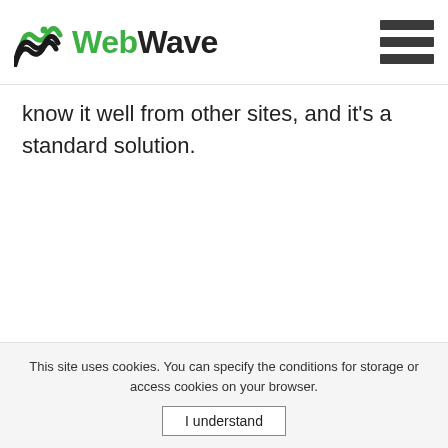[Figure (logo): WebWave logo with wave icon and hamburger menu icon in the top right]
know it well from other sites, and it's a standard solution.
This site uses cookies. You can specify the conditions for storage or access cookies on your browser.